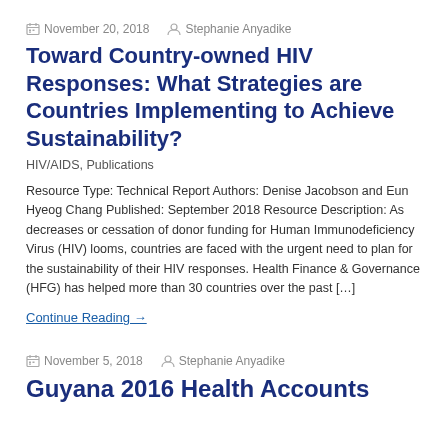November 20, 2018   Stephanie Anyadike
Toward Country-owned HIV Responses: What Strategies are Countries Implementing to Achieve Sustainability?
HIV/AIDS, Publications
Resource Type: Technical Report Authors: Denise Jacobson and Eun Hyeog Chang Published: September 2018 Resource Description: As decreases or cessation of donor funding for Human Immunodeficiency Virus (HIV) looms, countries are faced with the urgent need to plan for the sustainability of their HIV responses. Health Finance & Governance (HFG) has helped more than 30 countries over the past […]
Continue Reading →
November 5, 2018   Stephanie Anyadike
Guyana 2016 Health Accounts